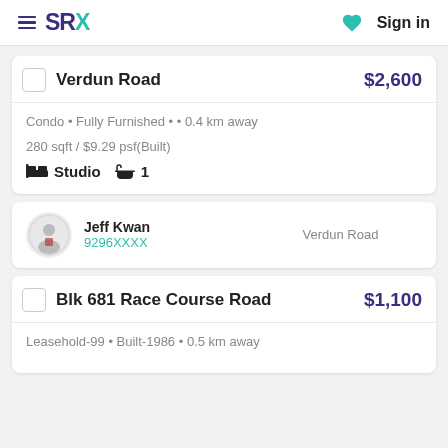SRX | Sign in
Verdun Road — $2,600
Condo • Fully Furnished • • 0.4 km away
280 sqft / $9.29 psf(Built)
Studio  1
Jeff Kwan 9296XXXX — Verdun Road
Blk 681 Race Course Road — $1,100
Leasehold-99 • Built-1986 • 0.5 km away